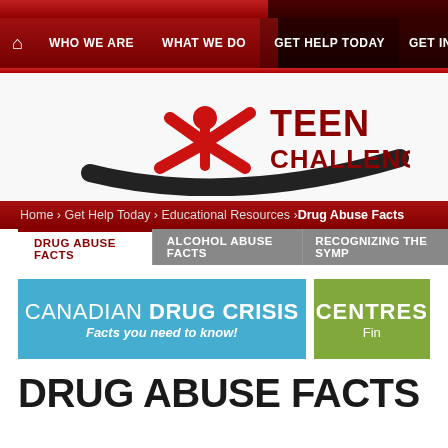[Figure (screenshot): Teen Challenge website screenshot showing navigation bar, logo, breadcrumb, tabs, banners, and Drug Abuse Facts page heading]
Home icon · WHO WE ARE · WHAT WE DO · GET HELP TODAY · GET INVOL…
[Figure (logo): Teen Challenge logo — red star-person figure with swoosh and TEEN CHALLENGE text in dark red]
Home › Get Help Today › Educational Resources › Drug Abuse Facts
DRUG ABUSE FACTS
ALCOHOL ABUSE FACTS
RECOGNIZING THE SYMP…
[Figure (infographic): Blue banner: CANADIAN DRUG CRISIS — Facts you need to know!]
[Figure (infographic): Green banner: CENTRES — Fin…]
DRUG ABUSE FACTS